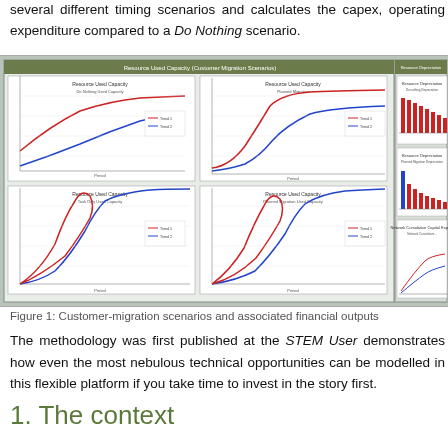several different timing scenarios and calculates the capex, operating expenditure compared to a Do Nothing scenario.
[Figure (screenshot): Screenshot of a software tool showing four line charts of Resource Used Capacity under different scenarios (Do Nothing, Planned Migration, Task Only Used Capacity, Planned Migration Used Capacity) with red and blue curves, plus bar charts on the right showing Resource Depreciation and Network Cumulative Capital Expenditure.]
Figure 1: Customer-migration scenarios and associated financial outputs
The methodology was first published at the STEM User demonstrates how even the most nebulous technical opportunities can be modelled in this flexible platform if you take time to invest in the story first.
1. The context